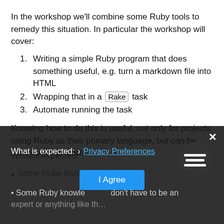In the workshop we'll combine some Ruby tools to remedy this situation. In particular the workshop will cover:
Writing a simple Ruby program that does something useful, e.g. turn a markdown file into HTML
Wrapping that in a Rake task
Automate running the task
Knowing how to do this is useful, not only for projects using Ruby as their primary language, but can be handy in all projects.
What is expected:
Some Ruby knowledge — you don't have to be an expert or anything like th…